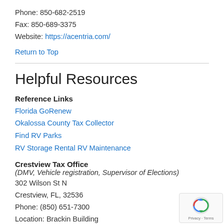Phone: 850-682-2519
Fax: 850-689-3375
Website: https://acentria.com/
Return to Top
Helpful Resources
Reference Links
Florida GoRenew
Okalossa County Tax Collector
Find RV Parks
RV Storage Rental RV Maintenance
Crestview Tax Office
(DMV, Vehicle registration, Supervisor of Elections)
302 Wilson St N
Crestview, FL, 32536
Phone: (850) 651-7300
Location: Brackin Building
Hours: M-F 8:30 am - 5:00 pm (CST)